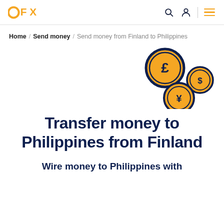OFX [logo] [search icon] [account icon] [menu icon]
Home / Send money / Send money from Finland to Philippines
[Figure (illustration): Three currency coin icons: a large GBP (£) coin with dark navy border and orange fill, a smaller USD ($) coin, and a JPY (¥) coin, arranged in a scattered pattern on the right side of the page.]
Transfer money to Philippines from Finland
Wire money to Philippines with